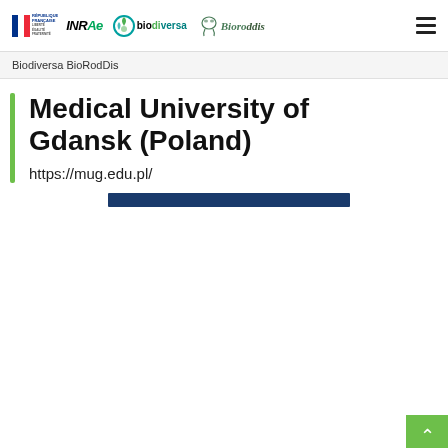Biodiversa BioRodDis header with logos: République Française, INRAE, biodiversa, Bioroddis, hamburger menu
Biodiversa BioRodDis
Medical University of Gdansk (Poland)
https://mug.edu.pl/
[Figure (other): Dark navy blue horizontal decorative bar]